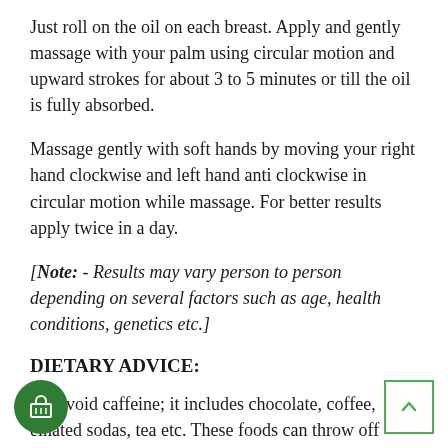Just roll on the oil on each breast. Apply and gently massage with your palm using circular motion and upward strokes for about 3 to 5 minutes or till the oil is fully absorbed.
Massage gently with soft hands by moving your right hand clockwise and left hand anti clockwise in circular motion while massage. For better results apply twice in a day.
[Note: - Results may vary person to person depending on several factors such as age, health conditions, genetics etc.]
DIETARY ADVICE:
t to avoid caffeine; it includes chocolate, coffee, einated sodas, tea etc. These foods can throw off